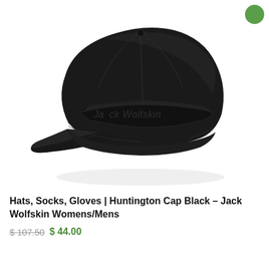[Figure (photo): A black Jack Wolfskin Huntington Cap shown at an angle. The cap is a structured baseball cap in matte black with an embossed 'Jack Wolfskin' logo on the front panel band.]
Hats, Socks, Gloves | Huntington Cap Black – Jack Wolfskin Womens/Mens
$ 107.50 $ 44.00